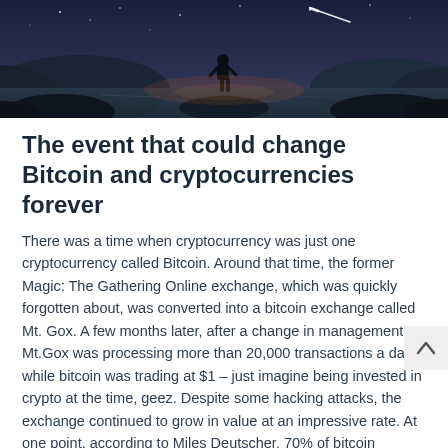[Figure (illustration): Dark atmospheric illustration showing a silhouette of a person standing on rocky terrain near water, with a starry night sky and shooting star in the background.]
The event that could change Bitcoin and cryptocurrencies forever
There was a time when cryptocurrency was just one cryptocurrency called Bitcoin. Around that time, the former Magic: The Gathering Online exchange, which was quickly forgotten about, was converted into a bitcoin exchange called Mt. Gox. A few months later, after a change in management, Mt.Gox was processing more than 20,000 transactions a day while bitcoin was trading at $1 – just imagine being invested in crypto at the time, geez. Despite some hacking attacks, the exchange continued to grow in value at an impressive rate. At one point, according to Miles Deutscher, 70% of bitcoin transactions were made on that exchange. Nothing but impressive. For context, at the time, the only cryptocurrencies in existence besides Bitcoin were litecoin and Namecoin and...